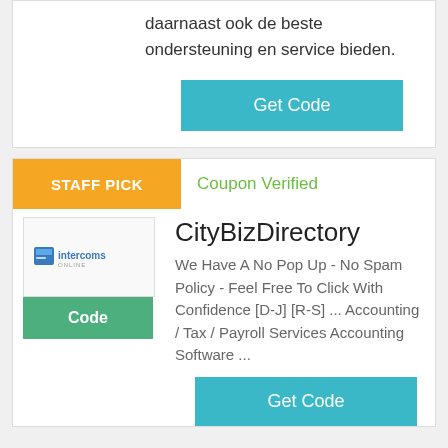daarnaast ook de beste ondersteuning en service bieden.
Get Code
STAFF PICK
Coupon Verified
CityBizDirectory
We Have A No Pop Up - No Spam Policy - Feel Free To Click With Confidence [D-J] [R-S] ... Accounting / Tax / Payroll Services Accounting Software ...
Code
Get Code